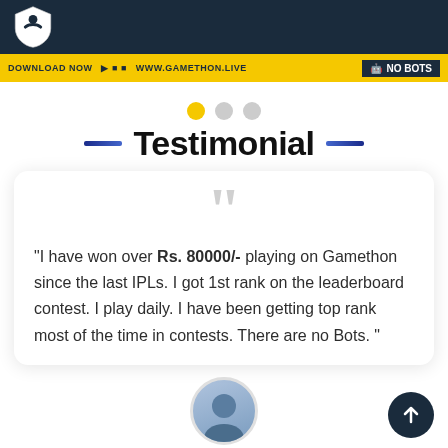Gamethon logo header
[Figure (screenshot): Yellow banner strip with DOWNLOAD NOW text, social icons, website URL, robot icon and NO BOTS text]
Testimonial
"I have won over Rs. 80000/- playing on Gamethon since the last IPLs. I got 1st rank on the leaderboard contest. I play daily. I have been getting top rank most of the time in contests. There are no Bots. "
[Figure (photo): Circular avatar photo of a man in a blue blazer]